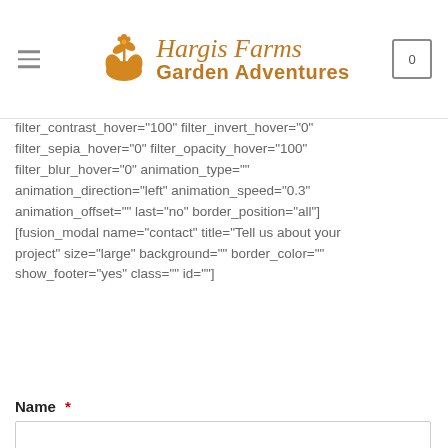[Figure (logo): Hargis Farms Garden Adventures logo with orange plant/hands icon, site navigation hamburger menu, and cart icon showing 0]
filter_invert="0" filter_sepia="0" filter_opacity="100" filter_blur="100" filter_saturation_hover="100" filter_brightness_hover="100" filter_contrast_hover="100" filter_invert_hover="0" filter_sepia_hover="0" filter_opacity_hover="100" filter_blur_hover="0" animation_type="" animation_direction="left" animation_speed="0.3" animation_offset="" last="no" border_position="all"] [fusion_modal name="contact" title="Tell us about your project" size="large" background="" border_color="" show_footer="yes" class="" id=""]
Name *
First